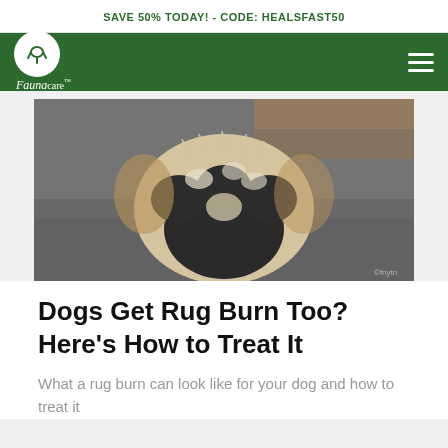SAVE 50% TODAY! - CODE: HEALSFAST50
[Figure (logo): Fauna Care logo — white circle with dog icon, script text 'Fauna care' below, on dark green navigation bar]
[Figure (photo): Close-up macro photograph of a dog's paw resting on a grey carpet, showing dark paw pads and white/tan fur between toes]
Dogs Get Rug Burn Too? Here's How to Treat It
What a rug burn can look like for your dog and how to treat it